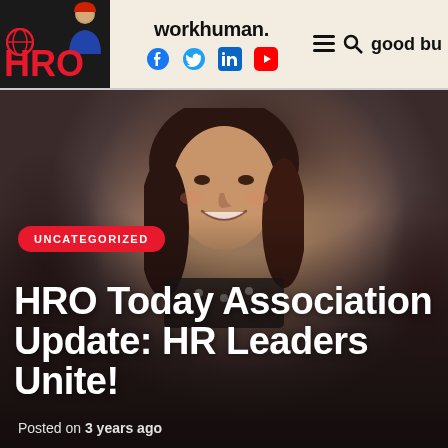HRO Today | workhuman. | good bu
[Figure (photo): Professional headshot of a smiling woman with long dark brown hair against a dark gray background, wearing a dark top with white polka dots.]
UNCATEGORIZED
HRO Today Association Update: HR Leaders Unite!
Posted on 3 years ago